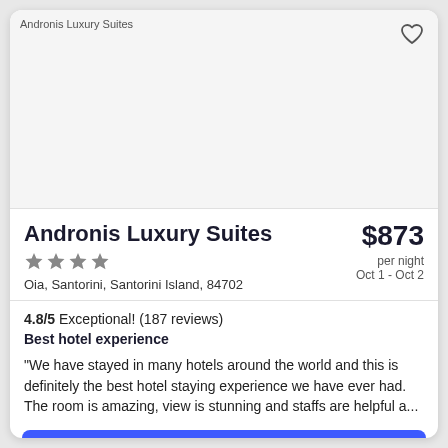[Figure (photo): Hotel image placeholder area for Andronis Luxury Suites]
Andronis Luxury Suites
Oia, Santorini, Santorini Island, 84702
$873 per night Oct 1 - Oct 2
4.8/5 Exceptional! (187 reviews)
Best hotel experience
"We have stayed in many hotels around the world and this is definitely the best hotel staying experience we have ever had. The room is amazing, view is stunning and staffs are helpful a...
Choose your dates